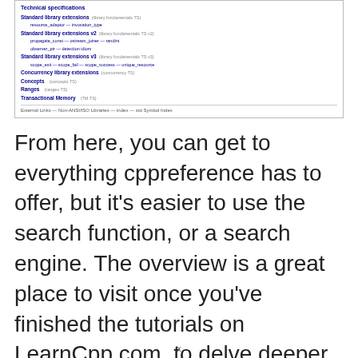[Figure (screenshot): Screenshot of cppreference.com page showing Technical specifications section with Standard library extensions, Standard library extensions v2, Standard library extensions v3, Concurrency library extensions, Concepts, Ranges, Transactional Memory entries and footer links.]
From here, you can get to everything cppreference has to offer, but it's easier to use the search function, or a search engine. The overview is a great place to visit once you've finished the tutorials on LearnCpp.com, to delve deeper into the libraries, and to see what else the language has to offer that you might not be aware of.
x